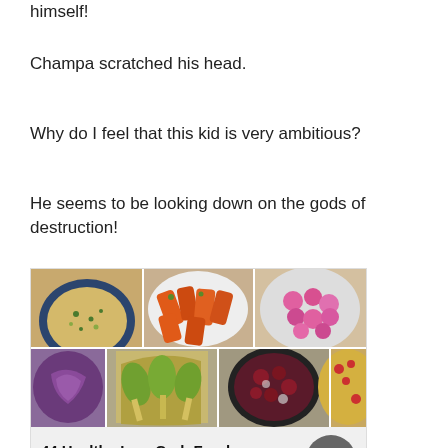himself!
Champa scratched his head.
Why do I feel that this kid is very ambitious?
He seems to be looking down on the gods of destruction!
[Figure (photo): Collage of colorful healthy food dishes including grain salad, roasted carrots, pink radishes, purple cabbage, bok choy, beet salad, and spaghetti squash with tomatoes]
44 Healthy Low-Carb Foods That Taste Incredible
https://alldelish.com